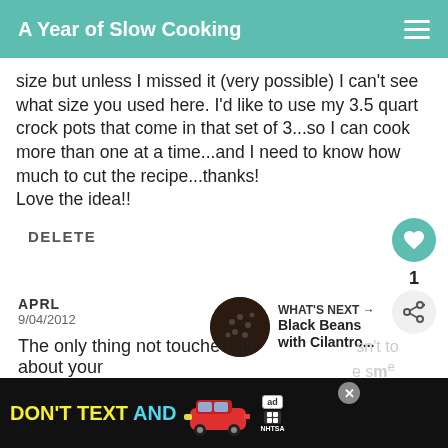A Year of Slow Cooking
size but unless I missed it (very possible) I can't see what size you used here. I'd like to use my 3.5 quart crock pots that come in that set of 3...so I can cook more than one at a time...and I need to know how much to cut the recipe...thanks!
Love the idea!!
DELETE
1
APRL
9/04/2012
The only thing not touched on about your
[Figure (infographic): Advertisement banner: DON'T TEXT AND with red car, ad badge, and NHTSA logo on black background with close button]